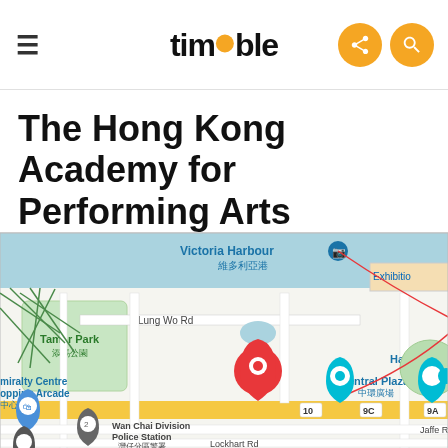timable
The Hong Kong Academy for Performing Arts
[Figure (map): Google Maps screenshot showing the location of The Hong Kong Academy for Performing Arts in Wan Chai, Hong Kong. Shows Victoria Harbour, Tamar Park, Lung Wo Rd, Admiralty Centre Shopping Arcade, Wan Chai Division Police Station, Jaffe Rd, Lockhart Rd, Central Plaza, Exhibition (partially visible), Harbour (partially visible), road numbers 10, 9C, 9A. A red location pin marks the Academy's position.]